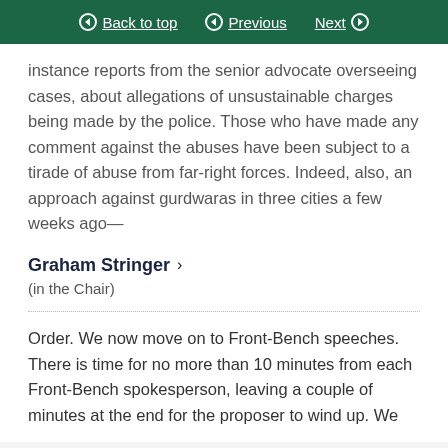Back to top   Previous   Next
instance reports from the senior advocate overseeing cases, about allegations of unsustainable charges being made by the police. Those who have made any comment against the abuses have been subject to a tirade of abuse from far-right forces. Indeed, also, an approach against gurdwaras in three cities a few weeks ago—
Graham Stringer
(in the Chair)
Order. We now move on to Front-Bench speeches. There is time for no more than 10 minutes from each Front-Bench spokesperson, leaving a couple of minutes at the end for the proposer to wind up. We